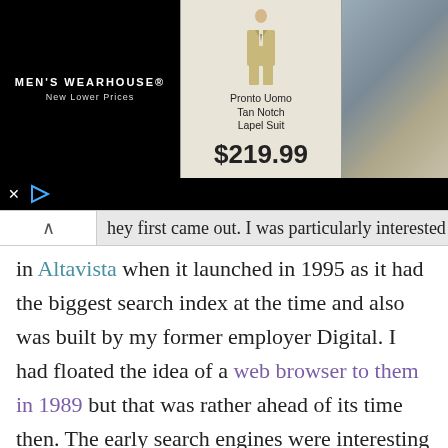[Figure (screenshot): Men's Wearhouse advertisement banner showing a tan suit and a couple. Text reads: MEN'S WEARHOUSE New Lower Prices. Pronto Uomo Tan Notch Lapel Suit. $219.99]
hey first came out. I was particularly interested in Altavista when it launched in 1995 as it had the biggest search index at the time and also was built by my former employer Digital. I had floated the idea of a web browser to them in 1989 but that was rather ahead of its time then. The early search engines were interesting and their job was a lot easier than now as there were so few sites however as the web grew the unstructured web needed some order to it so that relevant results came to the fore in the ever growing web.